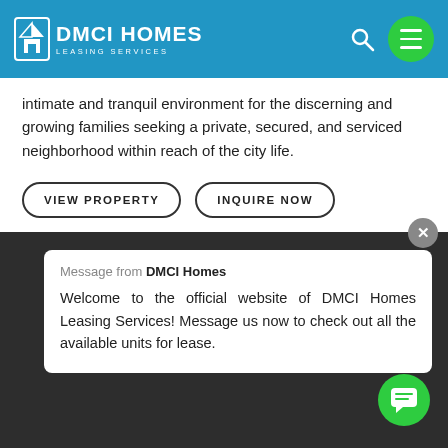DMCI HOMES LEASING SERVICES
intimate and tranquil environment for the discerning and growing families seeking a private, secured, and serviced neighborhood within reach of the city life.
VIEW PROPERTY
INQUIRE NOW
Message from DMCI Homes — Welcome to the official website of DMCI Homes Leasing Services! Message us now to check out all the available units for lease.